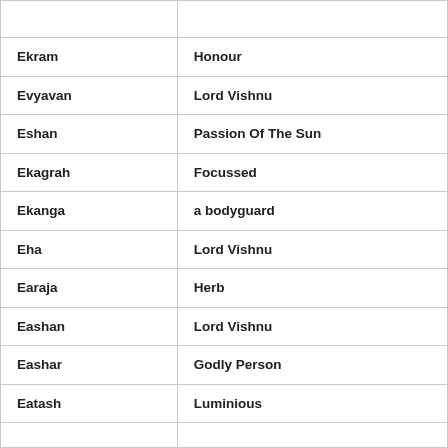| Ekram | Honour |
| Evyavan | Lord Vishnu |
| Eshan | Passion Of The Sun |
| Ekagrah | Focussed |
| Ekanga | a bodyguard |
| Eha | Lord Vishnu |
| Earaja | Herb |
| Eashan | Lord Vishnu |
| Eashar | Godly Person |
| Eatash | Luminious |